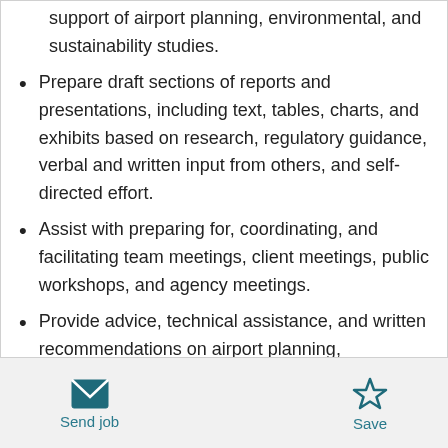support of airport planning, environmental, and sustainability studies.
Prepare draft sections of reports and presentations, including text, tables, charts, and exhibits based on research, regulatory guidance, verbal and written input from others, and self-directed effort.
Assist with preparing for, coordinating, and facilitating team meetings, client meetings, public workshops, and agency meetings.
Provide advice, technical assistance, and written recommendations on airport planning,
Send job   Save